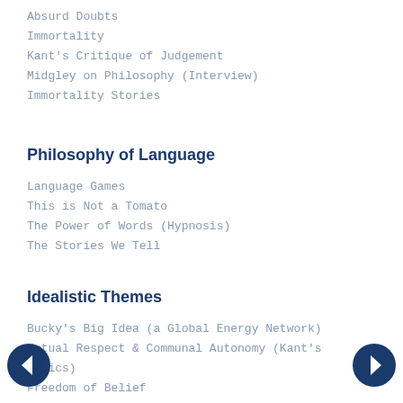Absurd Doubts
Immortality
Kant's Critique of Judgement
Midgley on Philosophy (Interview)
Immortality Stories
Philosophy of Language
Language Games
This is Not a Tomato
The Power of Words (Hypnosis)
The Stories We Tell
Idealistic Themes
Bucky's Big Idea (a Global Energy Network)
Mutual Respect & Communal Autonomy (Kant's Ethics)
Freedom of Belief